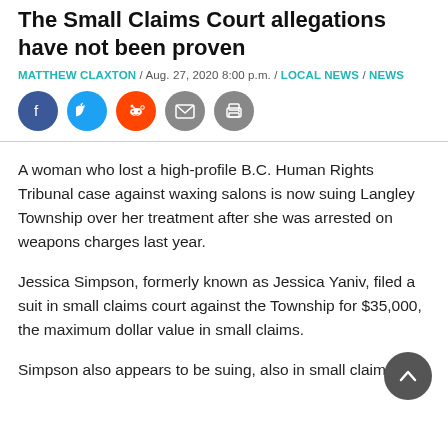The Small Claims Court allegations have not been proven
MATTHEW CLAXTON / Aug. 27, 2020 8:00 p.m. / LOCAL NEWS / NEWS
[Figure (other): Social share icons: Facebook, Twitter, Reddit, Email, Print]
A woman who lost a high-profile B.C. Human Rights Tribunal case against waxing salons is now suing Langley Township over her treatment after she was arrested on weapons charges last year.
Jessica Simpson, formerly known as Jessica Yaniv, filed a suit in small claims court against the Township for $35,000, the maximum dollar value in small claims.
Simpson also appears to be suing, also in small claims